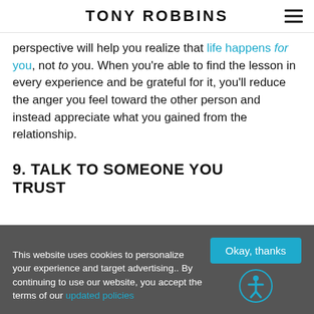TONY ROBBINS
perspective will help you realize that life happens for you, not to you. When you're able to find the lesson in every experience and be grateful for it, you'll reduce the anger you feel toward the other person and instead appreciate what you gained from the relationship.
9. TALK TO SOMEONE YOU TRUST
This website uses cookies to personalize your experience and target advertising.. By continuing to use our website, you accept the terms of our updated policies